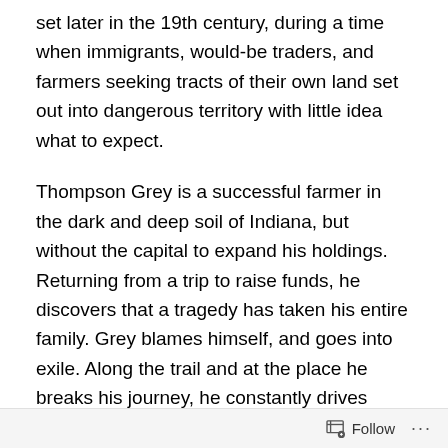set later in the 19th century, during a time when immigrants, would-be traders, and farmers seeking tracts of their own land set out into dangerous territory with little idea what to expect.
Thompson Grey is a successful farmer in the dark and deep soil of Indiana, but without the capital to expand his holdings. Returning from a trip to raise funds, he discovers that a tragedy has taken his entire family. Grey blames himself, and goes into exile. Along the trail and at the place he breaks his journey, he constantly drives himself with physical labor to blot out his terrible memories.
Almost by accident he attaches himself to a small party, each member of which has suffered tragedy or thwarted
Follow ···